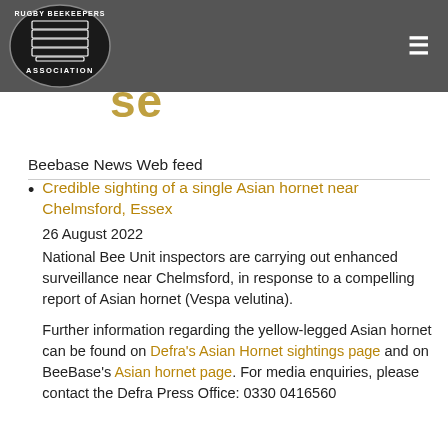Rugby BeeKeepers Association — header with logo and navigation
Beebase
Beebase News Web feed
Credible sighting of a single Asian hornet near Chelmsford, Essex
26 August 2022
National Bee Unit inspectors are carrying out enhanced surveillance near Chelmsford, in response to a compelling report of Asian hornet (Vespa velutina).

Further information regarding the yellow-legged Asian hornet can be found on Defra's Asian Hornet sightings page and on BeeBase's Asian hornet page. For media enquiries, please contact the Defra Press Office: 0330 0416560